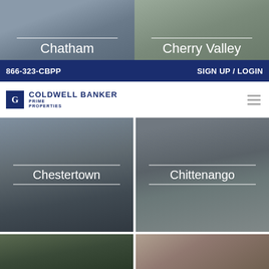[Figure (photo): Photo of interior room (Chatham) and house exterior (Cherry Valley) - top image row]
Chatham
Cherry Valley
866-323-CBPP
SIGN UP / LOGIN
[Figure (logo): Coldwell Banker Prime Properties logo]
[Figure (photo): Photo of house exterior (Chestertown) and lakeside scene (Chittenango) - middle image grid]
Chestertown
Chittenango
[Figure (photo): Partial photo of trees and interior room - bottom image row (cropped)]